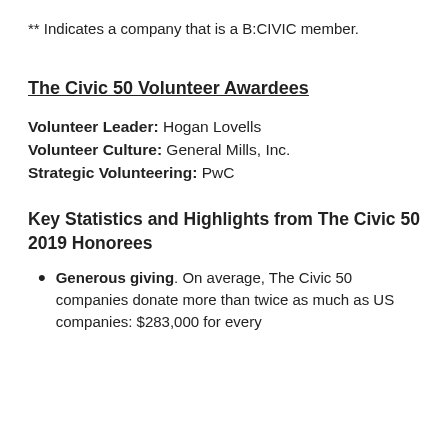** Indicates a company that is a B:CIVIC member.
The Civic 50 Volunteer Awardees
Volunteer Leader: Hogan Lovells
Volunteer Culture: General Mills, Inc.
Strategic Volunteering: PwC
Key Statistics and Highlights from The Civic 50 2019 Honorees
Generous giving. On average, The Civic 50 companies donate more than twice as much as US companies: $283,000 for every